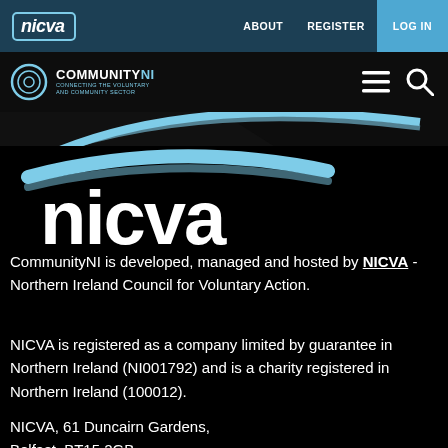nicva  ABOUT  REGISTER  LOG IN
[Figure (logo): CommunityNI logo with circle icon and hamburger/search icons on right]
[Figure (logo): NICVA logo - large white bold text on black background with cyan arc decoration]
CommunityNI is developed, managed and hosted by NICVA - Northern Ireland Council for Voluntary Action.
NICVA is registered as a company limited by guarantee in Northern Ireland (NI001792) and is a charity registered in Northern Ireland (100012).
NICVA, 61 Duncairn Gardens, Belfast, BT15 2GB